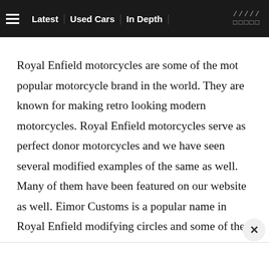≡  Latest | Used Cars | In Depth | /////  □□□□□
Royal Enfield motorcycles are some of the mot popular motorcycle brand in the world. They are known for making retro looking modern motorcycles. Royal Enfield motorcycles serve as perfect donor motorcycles and we have seen several modified examples of the same as well. Many of them have been featured on our website as well. Eimor Customs is a popular name in Royal Enfield modifying circles and some of their previous creations have been